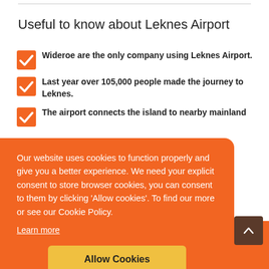Useful to know about Leknes Airport
Wideroe are the only company using Leknes Airport.
Last year over 105,000 people made the journey to Leknes.
The airport connects the island to nearby mainland
Our website uses cookies to function properly and give you a better experience. We need your explicit consent to store browser cookies, you can consent to them by clicking 'Allow cookies'. To find our more or see our Cookie Policy.
Learn more
Allow Cookies
Best car rental companies in Leknes Airport